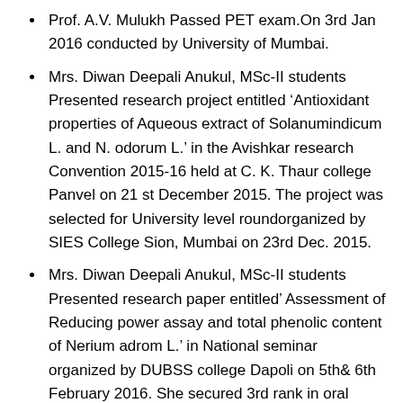Prof. A.V. Mulukh Passed PET exam.On 3rd Jan 2016 conducted by University of Mumbai.
Mrs. Diwan Deepali Anukul, MSc-II students Presented research project entitled ‘Antioxidant properties of Aqueous extract of Solanumindicum L. and N. odorum L.’ in the Avishkar research Convention 2015-16 held at C. K. Thaur college Panvel on 21 st December 2015. The project was selected for University level roundorganized by SIES College Sion, Mumbai on 23rd Dec. 2015.
Mrs. Diwan Deepali Anukul, MSc-II students Presented research paper entitled’ Assessment of Reducing power assay and total phenolic content of Nerium adrom L.’ in National seminar organized by DUBSS college Dapoli on 5th& 6th February 2016. She secured 3rd rank in oral presentation.
Mrs. Salvi Sheetal Shashikant of TYBSc student passed with 90.25% marks.
Consistent high results of M.Sc. in University